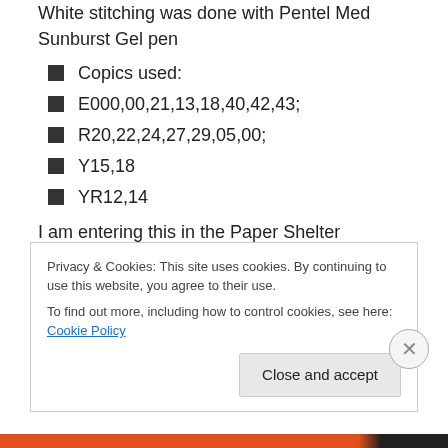White stitching was done with Pentel Med Sunburst Gel pen
Copics used:
E000,00,21,13,18,40,42,43;
R20,22,24,27,29,05,00;
Y15,18
YR12,14
I am entering this in the Paper Shelter Challenge Many folds.  Come play along.  You can win $30.00 worth of images. Click Here: thepapershelter.blogspot.com
Privacy & Cookies: This site uses cookies. By continuing to use this website, you agree to their use.
To find out more, including how to control cookies, see here: Cookie Policy
Close and accept